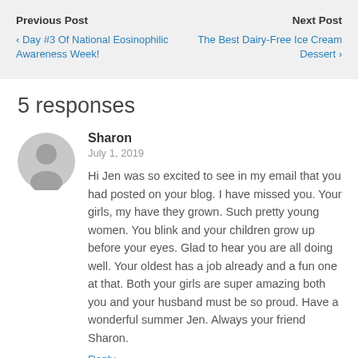Previous Post
‹ Day #3 Of National Eosinophilic Awareness Week!
Next Post
The Best Dairy-Free Ice Cream Dessert ›
5 responses
Sharon
July 1, 2019
Hi Jen was so excited to see in my email that you had posted on your blog. I have missed you. Your girls, my have they grown. Such pretty young women. You blink and your children grow up before your eyes. Glad to hear you are all doing well. Your oldest has a job already and a fun one at that. Both your girls are super amazing both you and your husband must be so proud. Have a wonderful summer Jen. Always your friend Sharon.
Reply